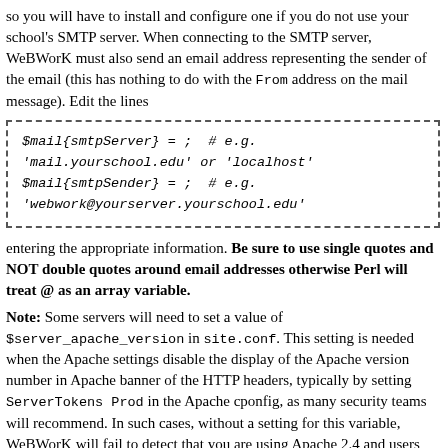so you will have to install and configure one if you do not use your school's SMTP server. When connecting to the SMTP server, WeBWorK must also send an email address representing the sender of the email (this has nothing to do with the From address on the mail message). Edit the lines
entering the appropriate information. Be sure to use single quotes and NOT double quotes around email addresses otherwise Perl will treat @ as an array variable.
Note: Some servers will need to set a value of $server_apache_version in site.conf. This setting is needed when the Apache settings disable the display of the Apache version number in Apache banner of the HTTP headers, typically by setting ServerTokens Prod in the Apache cponfig, as many security teams will recommend. In such cases, without a setting for this variable, WeBWorK will fail to detect that you are using Apache 2.4 and users will run into error pages reporting